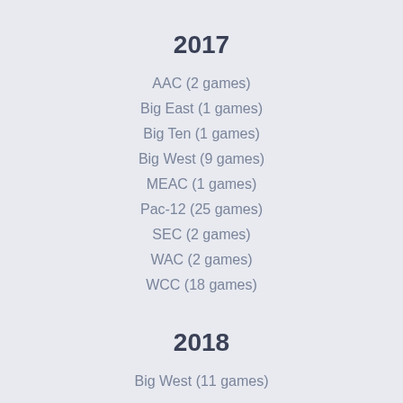2017
AAC (2 games)
Big East (1 games)
Big Ten (1 games)
Big West (9 games)
MEAC (1 games)
Pac-12 (25 games)
SEC (2 games)
WAC (2 games)
WCC (18 games)
2018
Big West (11 games)